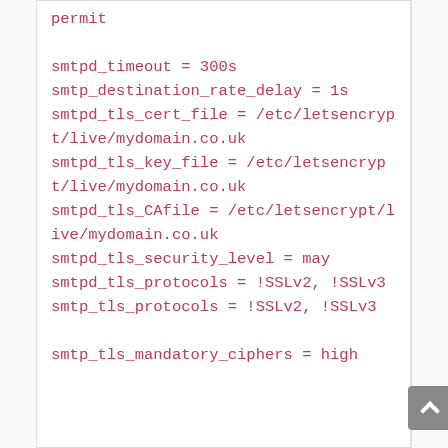permit

smtpd_timeout = 300s
smtp_destination_rate_delay = 1s
smtpd_tls_cert_file = /etc/letsencrypt/live/mydomain.co.uk
smtpd_tls_key_file = /etc/letsencrypt/live/mydomain.co.uk
smtpd_tls_CAfile = /etc/letsencrypt/live/mydomain.co.uk
smtpd_tls_security_level = may
smtpd_tls_protocols = !SSLv2, !SSLv3
smtp_tls_protocols = !SSLv2, !SSLv3

smtp_tls_mandatory_ciphers = high